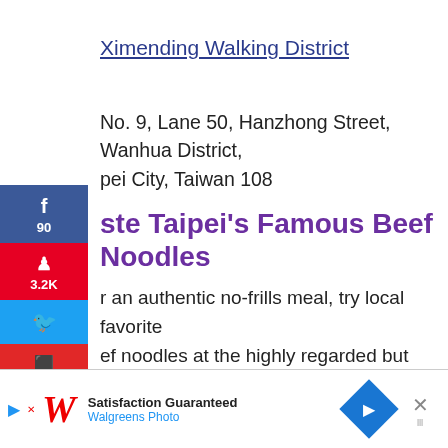Ximending Walking District
No. 9, Lane 50, Hanzhong Street, Wanhua District, Taipei City, Taiwan 108
Taste Taipei's Famous Beef Noodles
For an authentic no-frills meal, try local favorite beef noodles at the highly regarded but easy to miss hole-in-the-wall Chang's Beef Noodles Shop. This place has over six decades of history and is recommended in the Michelin Guide to Taipei.
The restaurant only uses Taiwanese beef (never frozen-...
[Figure (screenshot): Walgreens ad bar at bottom of page with play button, Walgreens logo, 'Satisfaction Guaranteed' text, Walgreens Photo, navigation diamond icon, and close X button]
[Figure (infographic): Social media sidebar with Facebook (90), Pinterest (3.2K), Twitter, Flipboard, Email, and LinkedIn share buttons on the left side]